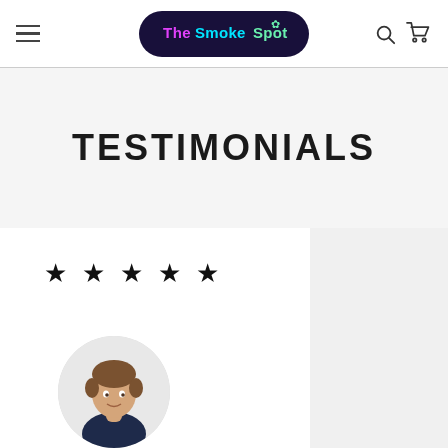The Smoke Spot - Navigation header with hamburger menu, logo, search and cart icons
TESTIMONIALS
[Figure (illustration): Five black star rating icons arranged horizontally]
[Figure (photo): Circular avatar photo of a young man wearing a dark navy t-shirt, with brown hair, white background]